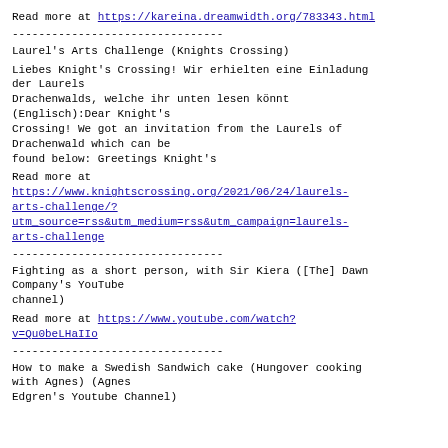Read more at https://kareina.dreamwidth.org/783343.html
--------------------------------
Laurel's Arts Challenge (Knights Crossing)
Liebes Knight's Crossing! Wir erhielten eine Einladung der Laurels Drachenwalds, welche ihr unten lesen könnt (Englisch):Dear Knight's Crossing! We got an invitation from the Laurels of Drachenwald which can be found below: Greetings Knight's
Read more at https://www.knightscrossing.org/2021/06/24/laurels-arts-challenge/?utm_source=rss&utm_medium=rss&utm_campaign=laurels-arts-challenge
--------------------------------
Fighting as a short person, with Sir Kiera ([The] Dawn Company's YouTube channel)
Read more at https://www.youtube.com/watch?v=Qu0beLHaIIo
--------------------------------
How to make a Swedish Sandwich cake (Hungover cooking with Agnes) (Agnes Edgren's Youtube Channel)